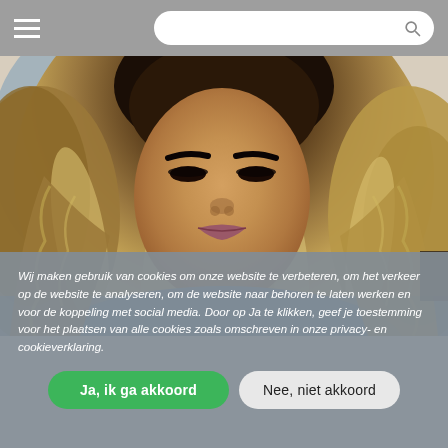[hamburger menu] [search bar]
[Figure (photo): Close-up portrait of a young woman with long wavy blonde/brown highlighted hair, bold makeup, wearing a silver necklace, against a light background.]
Wij maken gebruik van cookies om onze website te verbeteren, om het verkeer op de website te analyseren, om de website naar behoren te laten werken en voor de koppeling met social media. Door op Ja te klikken, geef je toestemming voor het plaatsen van alle cookies zoals omschreven in onze privacy- en cookieverklaring.
Ja, ik ga akkoord
Nee, niet akkoord